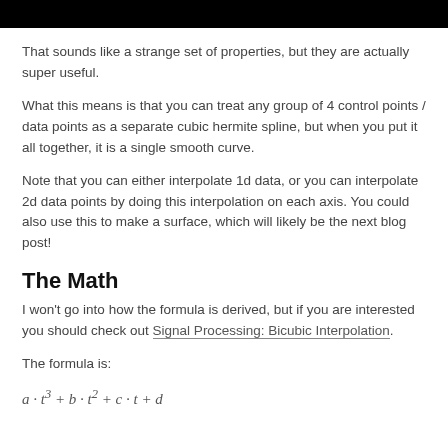[Figure (other): Black banner bar at top of page]
That sounds like a strange set of properties, but they are actually super useful.
What this means is that you can treat any group of 4 control points / data points as a separate cubic hermite spline, but when you put it all together, it is a single smooth curve.
Note that you can either interpolate 1d data, or you can interpolate 2d data points by doing this interpolation on each axis. You could also use this to make a surface, which will likely be the next blog post!
The Math
I won't go into how the formula is derived, but if you are interested you should check out Signal Processing: Bicubic Interpolation.
The formula is: